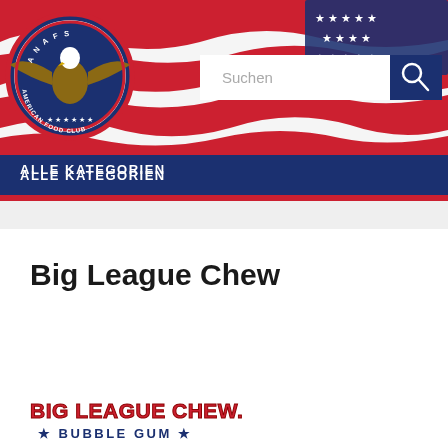[Figure (logo): ANAFS American Food Club eagle logo on patriotic red white and blue brushstroke banner background with search bar]
ALLE KATEGORIEN
Big League Chew
[Figure (logo): Big League Chew Bubble Gum product logo in red and blue]